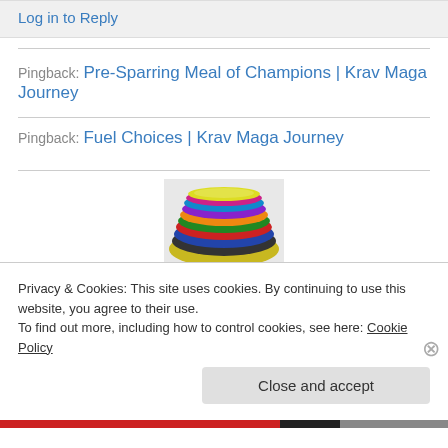Log in to Reply
Pingback: Pre-Sparring Meal of Champions | Krav Maga Journey
Pingback: Fuel Choices | Krav Maga Journey
[Figure (photo): Stacked colorful belts or straps photographed from above]
Privacy & Cookies: This site uses cookies. By continuing to use this website, you agree to their use. To find out more, including how to control cookies, see here: Cookie Policy
Close and accept